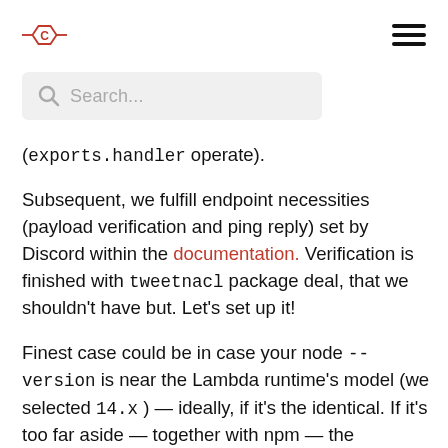Logo and hamburger menu navigation
Search...
(exports.handler operate).
Subsequent, we fulfill endpoint necessities (payload verification and ping reply) set by Discord within the documentation. Verification is finished with tweetnacl package deal, that we shouldn't have but. Let's set up it!
Finest case could be in case your node --version is near the Lambda runtime's model (we selected 14.x ) — ideally, if it's the identical. If it's too far aside — together with npm — the